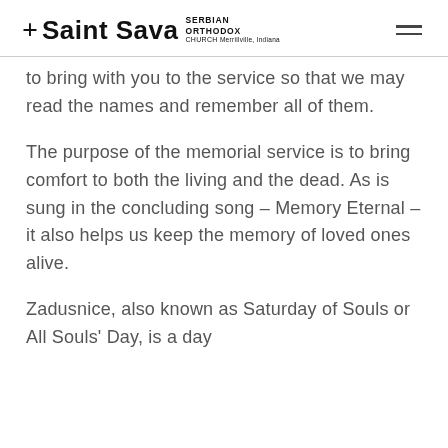† Saint Sava SERBIAN ORTHODOX CHURCH Merrillville, Indiana
to bring with you to the service so that we may read the names and remember all of them.
The purpose of the memorial service is to bring comfort to both the living and the dead. As is sung in the concluding song – Memory Eternal – it also helps us keep the memory of loved ones alive.
Zadusnice, also known as Saturday of Souls or All Souls' Day, is a day